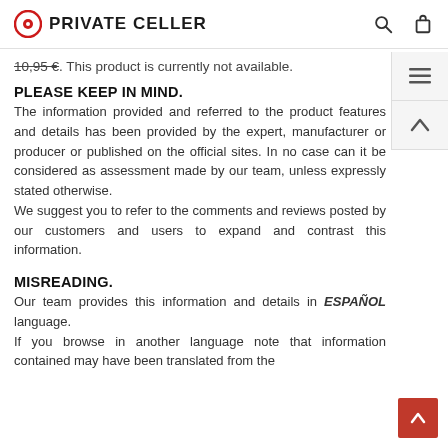PRIVATE CELLER
10,95 €. This product is currently not available.
PLEASE KEEP IN MIND.
The information provided and referred to the product features and details has been provided by the expert, manufacturer or producer or published on the official sites. In no case can it be considered as assessment made by our team, unless expressly stated otherwise. We suggest you to refer to the comments and reviews posted by our customers and users to expand and contrast this information.
MISREADING.
Our team provides this information and details in ESPAÑOL language. If you browse in another language note that information contained may have been translated from the